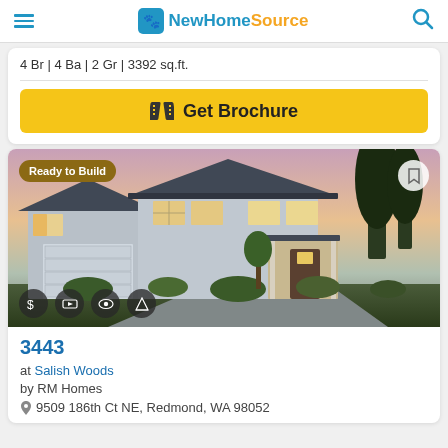NewHomeSource
4 Br | 4 Ba | 2 Gr | 3392 sq.ft.
Get Brochure
[Figure (photo): Exterior photo of a large two-story gray craftsman-style home at dusk with a two-car garage, landscaping, and a covered front entry. Ready to Build badge in top left corner.]
3443
at Salish Woods
by RM Homes
9509 186th Ct NE, Redmond, WA 98052